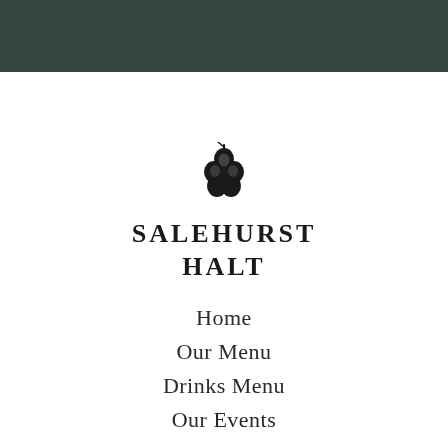[Figure (logo): Dark green/teal header bar at top of page]
[Figure (logo): Salehurst Halt logo with hop cone icon above text reading SALEHURST HALT in bold serif capitals]
Home
Our Menu
Drinks Menu
Our Events
[Figure (illustration): Facebook and Instagram circular social media icons side by side]